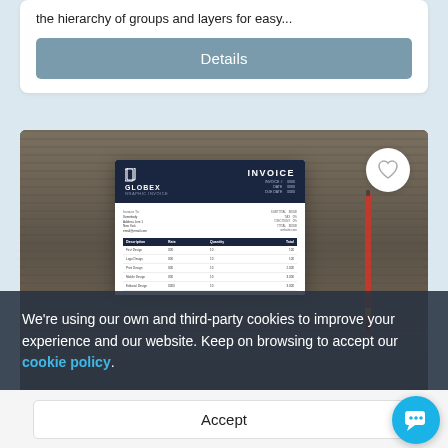the hierarchy of groups and layers for easy...
Details
[Figure (screenshot): Invoice template mockup on a dark wooden background with a red pen. The invoice shows GLOBEX branding and contains line items for services.]
We're using our own and third-party cookies to improve your experience and our website. Keep on browsing to accept our cookie policy.
Accept
by VictorThemes